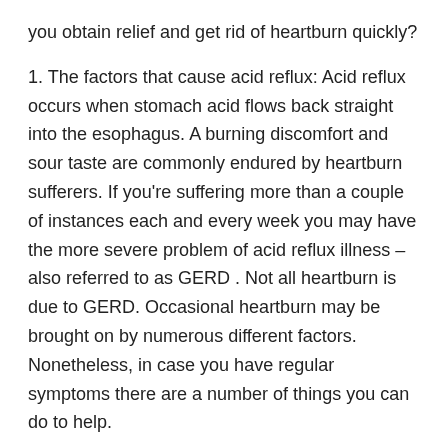you obtain relief and get rid of heartburn quickly?
1. The factors that cause acid reflux: Acid reflux occurs when stomach acid flows back straight into the esophagus. A burning discomfort and sour taste are commonly endured by heartburn sufferers. If you're suffering more than a couple of instances each and every week you may have the more severe problem of acid reflux illness – also referred to as GERD . Not all heartburn is due to GERD. Occasional heartburn may be brought on by numerous different factors. Nonetheless, in case you have regular symptoms there are a number of things you can do to help.
2. What one can do to get rid of heartburn quickly:
A few natural products for example extract of orange peel are now being investigated for their capabilities to curb heartburn symptoms.